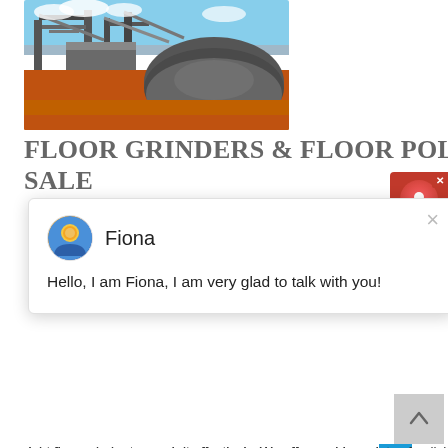[Figure (photo): Aerial view of a mining/quarrying facility with industrial conveyors, processing equipment, and a large pile of crushed rock or gravel on red/orange earth]
FLOOR GRINDERS & FLOOR POLISHERS FOR SALE
[Figure (screenshot): Chat popup dialog with agent avatar (Fiona) and message: Hello, I am Fiona, I am very glad to talk with you!]
right floor grinder to repair it effectively. We offer a wide variety of polishing and floor grinding machines capable of producing a smooth surface that looks great on its
get price
[Figure (photo): Industrial yellow machinery/crusher equipment against a blue sky background]